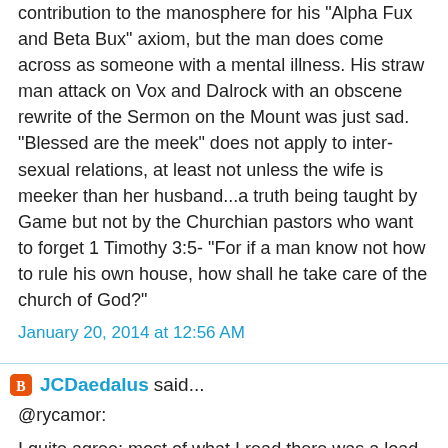contribution to the manosphere for his "Alpha Fux and Beta Bux" axiom, but the man does come across as someone with a mental illness. His straw man attack on Vox and Dalrock with an obscene rewrite of the Sermon on the Mount was just sad. "Blessed are the meek" does not apply to inter-sexual relations, at least not unless the wife is meeker than her husband...a truth being taught by Game but not by the Churchian pastors who want to forget 1 Timothy 3:5- "For if a man know not how to rule his own house, how shall he take care of the church of God?"
January 20, 2014 at 12:56 AM
JCDaedalus said...
@rycamor:
I quite agree; most of what I read there was a load of rhetorical hogwash. It's also rather amusing that he says we have to emulate Christ/Moses/the patriarchs with nary a word on how exactly. It's akin to saying that watching an expert martial artist and aping his moves will eventually lead to becoming an expert.